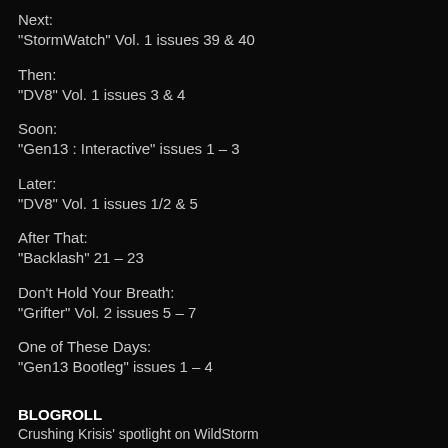Next:
“StormWatch” Vol. 1 issues 39 & 40
Then:
“DV8” Vol. 1 issues 3 & 4
Soon:
“Gen13 : Interactive” issues 1 – 3
Later:
“DV8” Vol. 1 issues 1/2 & 5
After That:
“Backlash” 21 – 23
Don’t Hold Your Breath:
“Grifter” Vol. 2 issues 5 – 7
One of These Days:
“Gen13 Bootleg” issues 1 – 4
BLOGROLL
Crushing Krisis’ spotlight on WildStorm